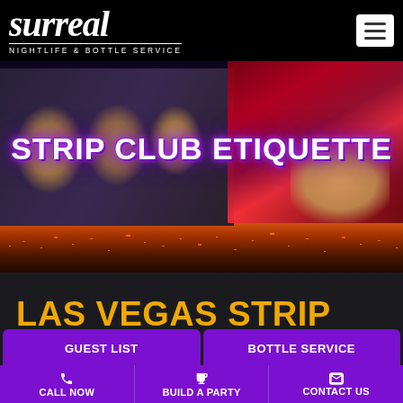surreal NIGHTLIFE & BOTTLE SERVICE
[Figure (photo): Hero banner image showing people at a nightclub with city lights background and text overlay 'STRIP CLUB ETIQUETTE']
LAS VEGAS STRIP CLUB ETIQUETTE
GUEST LIST
BOTTLE SERVICE
CALL NOW
BUILD A PARTY
CONTACT US